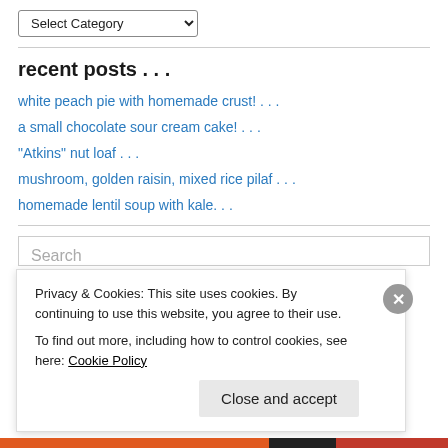[Figure (screenshot): A dropdown form element labeled 'Select Category' with a down-arrow indicator]
recent posts . . .
white peach pie with homemade crust! . . .
a small chocolate sour cream cake! . . .
“Atkins” nut loaf . . .
mushroom, golden raisin, mixed rice pilaf . . .
homemade lentil soup with kale. . .
Privacy & Cookies: This site uses cookies. By continuing to use this website, you agree to their use.
To find out more, including how to control cookies, see here: Cookie Policy
Close and accept